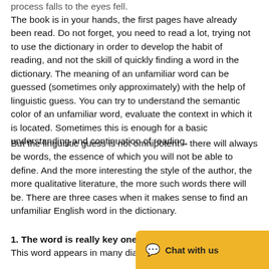process falls to the eyes fell.
The book is in your hands, the first pages have already been read. Do not forget, you need to read a lot, trying not to use the dictionary in order to develop the habit of reading, and not the skill of quickly finding a word in the dictionary. The meaning of an unfamiliar word can be guessed (sometimes only approximately) with the help of linguistic guess. You can try to understand the semantic color of an unfamiliar word, evaluate the context in which it is located. Sometimes this is enough for a basic understanding and continuation of reading.
But the linguistic guess is not omnipotent – there will always be words, the essence of which you will not be able to define. And the more interesting the style of the author, the more qualitative literature, the more such words there will be. There are three cases when it makes sense to find an unfamiliar English word in the dictionary.
1. The word is really key one to understand the text. This word appears in many dialogs